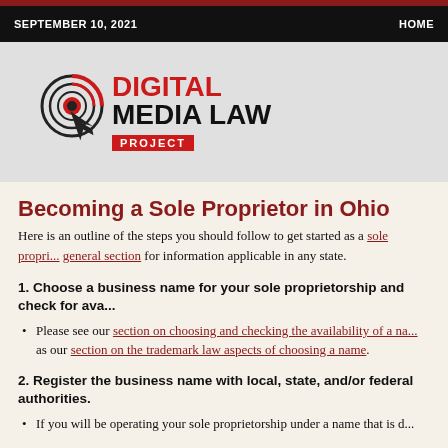SEPTEMBER 10, 2021    HOME
[Figure (logo): Digital Media Law Project logo with circular graphic and red/black text]
Becoming a Sole Proprietor in Ohio
Here is an outline of the steps you should follow to get started as a sole proprietor. See our general section for information applicable in any state.
1. Choose a business name for your sole proprietorship and check for availability.
Please see our section on choosing and checking the availability of a name, as well as our section on the trademark law aspects of choosing a name.
2. Register the business name with local, state, and/or federal authorities.
If you will be operating your sole proprietorship under a name that is d...